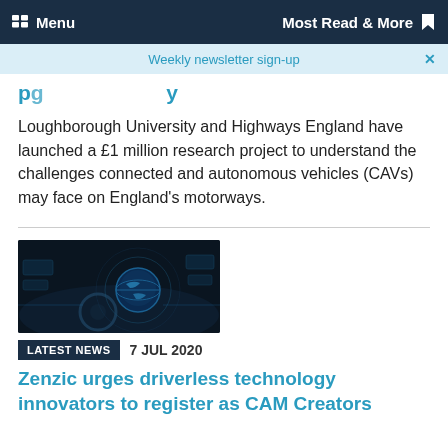Menu | Most Read & More
Weekly newsletter sign-up
p g y
Loughborough University and Highways England have launched a £1 million research project to understand the challenges connected and autonomous vehicles (CAVs) may face on England's motorways.
[Figure (photo): Interior dashboard view of a connected/autonomous vehicle with blue digital interface overlays and a globe display]
LATEST NEWS   7 JUL 2020
Zenzic urges driverless technology innovators to register as CAM Creators